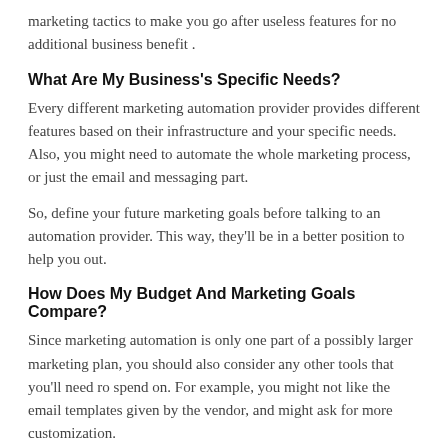marketing tactics to make you go after useless features for no additional business benefit .
What Are My Business's Specific Needs?
Every different marketing automation provider provides different features based on their infrastructure and your specific needs. Also, you might need to automate the whole marketing process, or just the email and messaging part.
So, define your future marketing goals before talking to an automation provider. This way, they'll be in a better position to help you out.
How Does My Budget And Marketing Goals Compare?
Since marketing automation is only one part of a possibly larger marketing plan, you should also consider any other tools that you'll need ro spend on. For example, you might not like the email templates given by the vendor, and might ask for more customization.